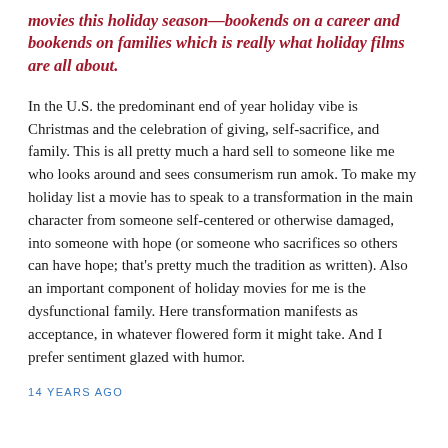movies this holiday season—bookends on a career and bookends on families which is really what holiday films are all about.
In the U.S. the predominant end of year holiday vibe is Christmas and the celebration of giving, self-sacrifice, and family. This is all pretty much a hard sell to someone like me who looks around and sees consumerism run amok. To make my holiday list a movie has to speak to a transformation in the main character from someone self-centered or otherwise damaged, into someone with hope (or someone who sacrifices so others can have hope; that's pretty much the tradition as written). Also an important component of holiday movies for me is the dysfunctional family. Here transformation manifests as acceptance, in whatever flowered form it might take. And I prefer sentiment glazed with humor.
14 YEARS AGO